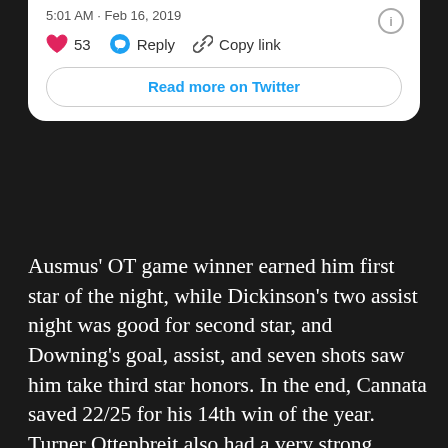5:01 AM · Feb 16, 2019
53   Reply   Copy link
Read more on Twitter
Ausmus' OT game winner earned him first star of the night, while Dickinson's two assist night was good for second star, and Downing's goal, assist, and seven shots saw him take third star honors. In the end, Cannata saved 22/25 for his 14th win of the year. Turner Ottenbreit also had a very strong game, as did Mizzi, who together with Walters and Dickinson, had five shots in his debut. Walters now has seven goals in his last six games and, with all the call-ups and injuries, is once again the Grizzlies' leading scorer.